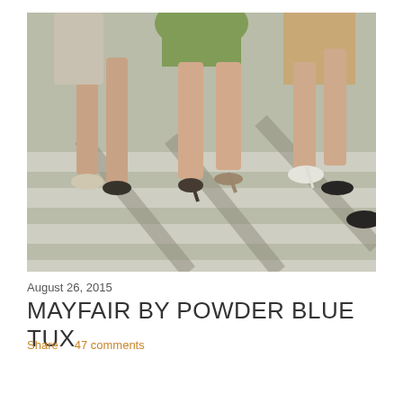[Figure (photo): Close-up photograph of women's legs and high-heeled shoes walking across a zebra crossing/crosswalk. The women are wearing skirts and dresses in green and beige tones. The photo has a vintage feel with warm color tones.]
August 26, 2015
MAYFAIR BY POWDER BLUE TUX
Share   47 comments